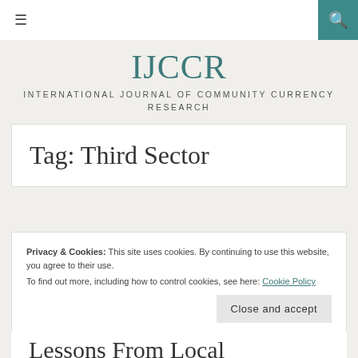≡  🔍
IJCCR
INTERNATIONAL JOURNAL OF COMMUNITY CURRENCY RESEARCH
Tag: Third Sector
Privacy & Cookies: This site uses cookies. By continuing to use this website, you agree to their use.
To find out more, including how to control cookies, see here: Cookie Policy
Close and accept
Lessons From Local